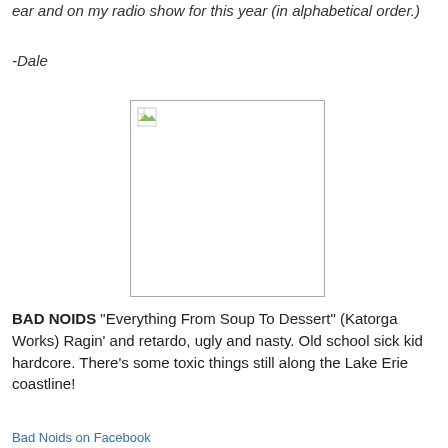ear and on my radio show for this year (in alphabetical order.)
-Dale
[Figure (photo): Broken/missing image placeholder with small icon in top-left corner, white background with gray border]
BAD NOIDS "Everything From Soup To Dessert" (Katorga Works) Ragin' and retardo, ugly and nasty. Old school sick kid hardcore. There's some toxic things still along the Lake Erie coastline!
Bad Noids on Facebook